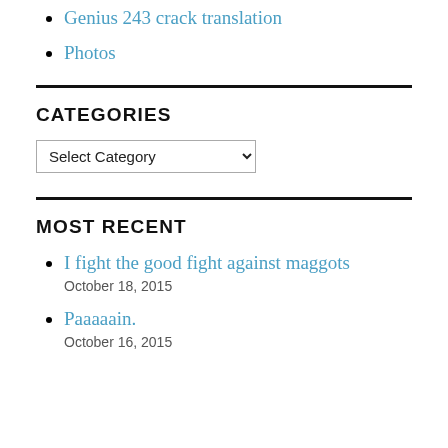Genius 243 crack translation
Photos
CATEGORIES
Select Category (dropdown)
MOST RECENT
I fight the good fight against maggots
October 18, 2015
Paaaaain.
October 16, 2015